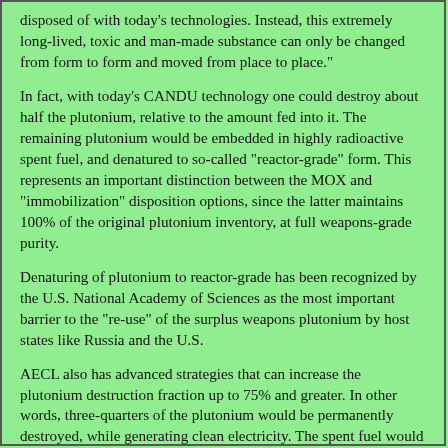disposed of with today's technologies. Instead, this extremely long-lived, toxic and man-made substance can only be changed from form to form and moved from place to place."
In fact, with today's CANDU technology one could destroy about half the plutonium, relative to the amount fed into it. The remaining plutonium would be embedded in highly radioactive spent fuel, and denatured to so-called "reactor-grade" form. This represents an important distinction between the MOX and "immobilization" disposition options, since the latter maintains 100% of the original plutonium inventory, at full weapons-grade purity.
Denaturing of plutonium to reactor-grade has been recognized by the U.S. National Academy of Sciences as the most important barrier to the "re-use" of the surplus weapons plutonium by host states like Russia and the U.S.
AECL also has advanced strategies that can increase the plutonium destruction fraction up to 75% and greater. In other words, three-quarters of the plutonium would be permanently destroyed, while generating clean electricity. The spent fuel would be a small fraction of that currently generated by CANDU reactors, and far shorter-lived due to the lower amount of plutonium.